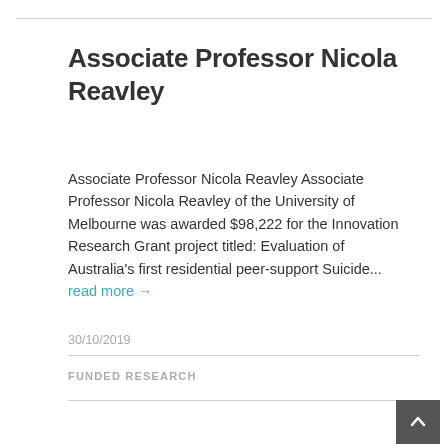Associate Professor Nicola Reavley
Associate Professor Nicola Reavley Associate Professor Nicola Reavley of the University of Melbourne was awarded $98,222 for the Innovation Research Grant project titled: Evaluation of Australia's first residential peer-support Suicide... read more →
30/10/2019
FUNDED RESEARCH